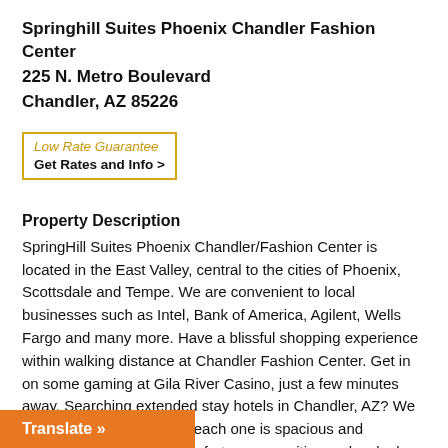Springhill Suites Phoenix Chandler Fashion Center
225 N. Metro Boulevard
Chandler, AZ 85226
[Figure (other): Low Rate Guarantee box with 'Get Rates and Info >' button, yellow border box]
Property Description
SpringHill Suites Phoenix Chandler/Fashion Center is located in the East Valley, central to the cities of Phoenix, Scottsdale and Tempe. We are convenient to local businesses such as Intel, Bank of America, Agilent, Wells Fargo and many more. Have a blissful shopping experience within walking distance at Chandler Fashion Center. Get in on some gaming at Gila River Casino, just a few minutes away. Searching extended stay hotels in Chandler, AZ? We are an all suite hotel, and each one is spacious and designed for long term comfort, ities and a sleek style. Enjoy separate
[Figure (other): Orange 'Translate »' button bar at bottom left]